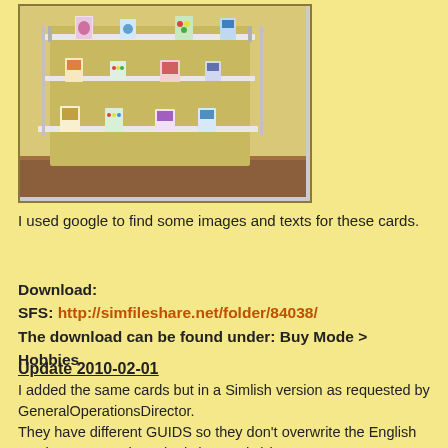[Figure (photo): A 3D rendered image of a store display with multiple shelves showing greeting cards or small folded cards arranged on clear acrylic shelf risers against a yellow-tan wall with wood paneling at the bottom.]
I used google to find some images and texts for these cards.
Download:
SFS: http://simfileshare.net/folder/84038/
The download can be found under: Buy Mode > Hobbies
Update 2010-02-01
I added the same cards but in a Simlish version as requested by GeneralOperationsDirector.
They have different GUIDS so they don't overwrite the English version. You can have both (24 cards!) in your game.